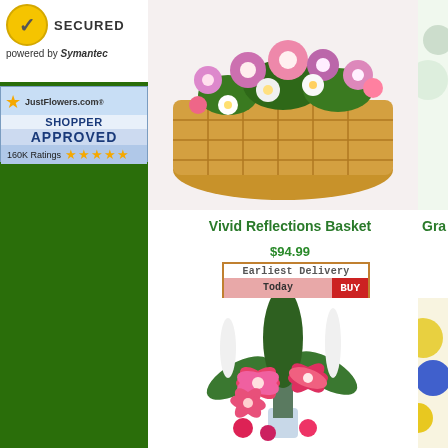[Figure (logo): VeriSign Secured badge powered by Symantec with checkmark icon]
[Figure (logo): JustFlowers.com Shopper Approved badge with 5 stars and 160K Ratings]
[Figure (photo): Vivid Reflections Basket - a wicker basket full of pink, purple and white flowers including daisies and chrysanthemums]
Vivid Reflections Basket
$94.99
[Figure (screenshot): Earliest Delivery Today BUY button]
Gra
[Figure (photo): Tall vase arrangement with pink stargazer lilies, white flowers, and greenery]
[Figure (photo): Partial view of yellow and blue flower arrangement on right side]